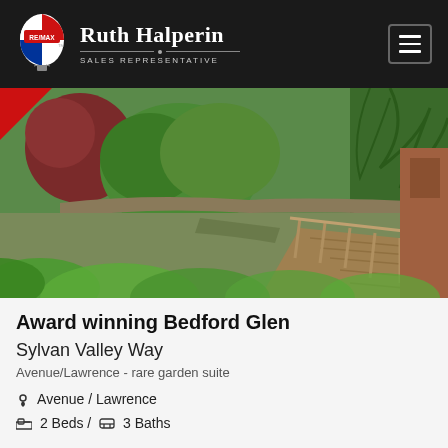Ruth Halperin — SALES REPRESENTATIVE (RE/MAX)
[Figure (photo): Outdoor garden scene with lush green trees, shrubs, stone wall, and a wooden deck/walkway with railing. A red corner triangle is visible in the top-left of the image.]
Award winning Bedford Glen
Sylvan Valley Way
Avenue/Lawrence - rare garden suite
Avenue / Lawrence
2 Beds / 3 Baths